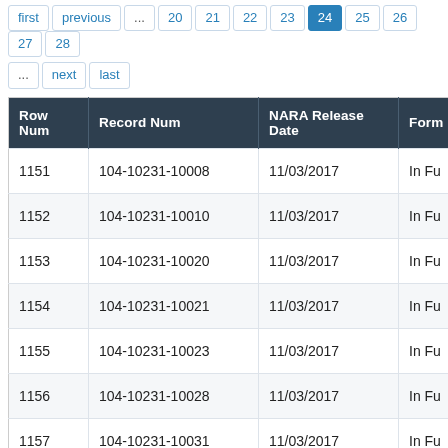first previous ... 20 21 22 23 24 25 26 27 28
... next last
| Row Num | Record Num | NARA Release Date | Form |
| --- | --- | --- | --- |
| 1151 | 104-10231-10008 | 11/03/2017 | In Fu |
| 1152 | 104-10231-10010 | 11/03/2017 | In Fu |
| 1153 | 104-10231-10020 | 11/03/2017 | In Fu |
| 1154 | 104-10231-10021 | 11/03/2017 | In Fu |
| 1155 | 104-10231-10023 | 11/03/2017 | In Fu |
| 1156 | 104-10231-10028 | 11/03/2017 | In Fu |
| 1157 | 104-10231-10031 | 11/03/2017 | In Fu |